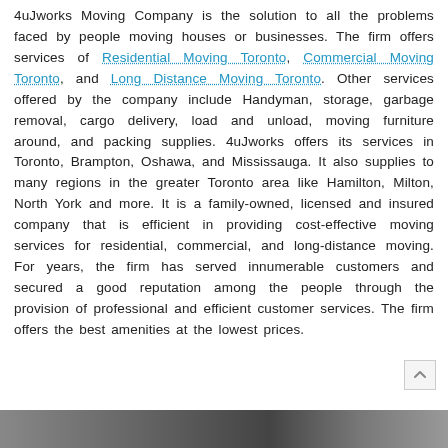4uJworks Moving Company is the solution to all the problems faced by people moving houses or businesses. The firm offers services of Residential Moving Toronto, Commercial Moving Toronto, and Long Distance Moving Toronto. Other services offered by the company include Handyman, storage, garbage removal, cargo delivery, load and unload, moving furniture around, and packing supplies. 4uJworks offers its services in Toronto, Brampton, Oshawa, and Mississauga. It also supplies to many regions in the greater Toronto area like Hamilton, Milton, North York and more. It is a family-owned, licensed and insured company that is efficient in providing cost-effective moving services for residential, commercial, and long-distance moving. For years, the firm has served innumerable customers and secured a good reputation among the people through the provision of professional and efficient customer services. The firm offers the best amenities at the lowest prices.
[Figure (photo): Partial photo strip at the bottom of the page showing moving-related imagery]